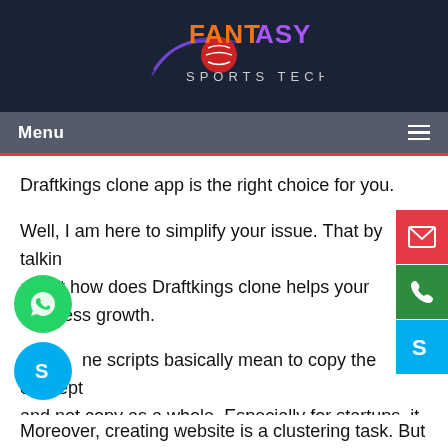[Figure (logo): Fantasy Sports Tech logo with orange and purple FANTASY text, SPORTS TECH in smaller text below, cricket ball graphic]
Menu
Draftkings clone app is the right choice for you.
Well, I am here to simplify your issue. That by talking about how does Draftkings clone helps your business growth.
Clone scripts basically mean to copy the concept and not copy as a whole. Especially for startups, it is really helpful to start their business.
Moreover, creating website is a clustering task. But